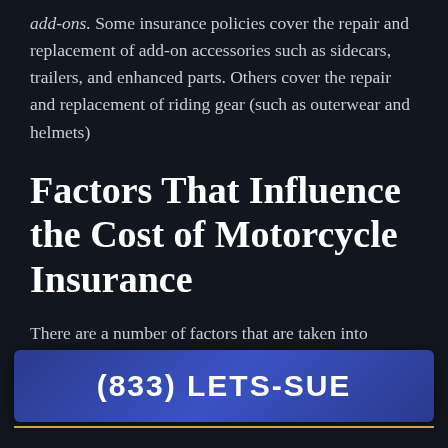add-ons. Some insurance policies cover the repair and replacement of add-on accessories such as sidecars, trailers, and enhanced parts. Others cover the repair and replacement of riding gear (such as outerwear and helmets)
Factors That Influence the Cost of Motorcycle Insurance
There are a number of factors that are taken into consideration when calculating your monthly insurance premiums. In the section below, we talk about these f... y...
(833) LETS-SUE